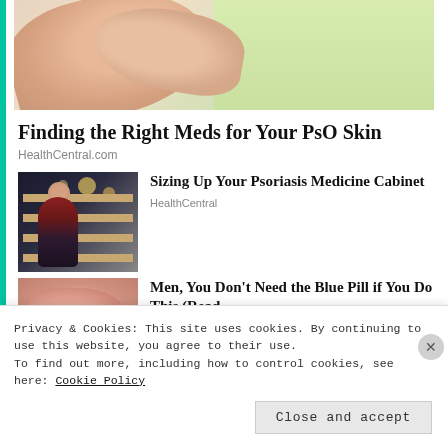[Figure (photo): Close-up photo of hands against a light green background]
Finding the Right Meds for Your PsO Skin
HealthCentral.com
[Figure (photo): Woman in plaid shirt browsing products in a store aisle with bokeh lights]
Sizing Up Your Psoriasis Medicine Cabinet
HealthCentral
[Figure (photo): Close-up of skin texture in pinkish-red tones]
Men, You Don't Need the Blue Pill if You Do This (Read...
Privacy & Cookies: This site uses cookies. By continuing to use this website, you agree to their use.
To find out more, including how to control cookies, see here: Cookie Policy
Close and accept